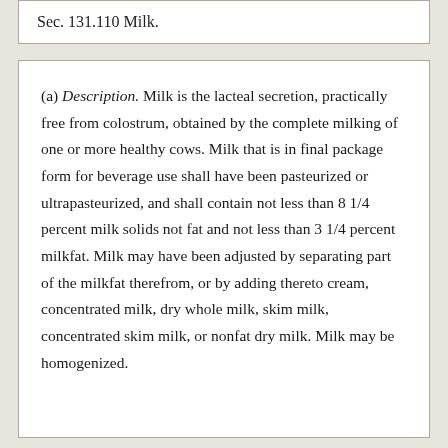Sec. 131.110 Milk.
(a) Description. Milk is the lacteal secretion, practically free from colostrum, obtained by the complete milking of one or more healthy cows. Milk that is in final package form for beverage use shall have been pasteurized or ultrapasteurized, and shall contain not less than 8 1/4 percent milk solids not fat and not less than 3 1/4 percent milkfat. Milk may have been adjusted by separating part of the milkfat therefrom, or by adding thereto cream, concentrated milk, dry whole milk, skim milk, concentrated skim milk, or nonfat dry milk. Milk may be homogenized.